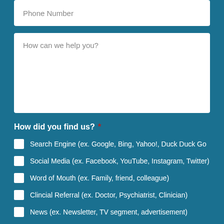Phone Number
How can we help you?
How did you find us? *
Search Engine (ex. Google, Bing, Yahoo!, Duck Duck Go
Social Media (ex. Facebook, YouTube, Instagram, Twitter)
Word of Mouth (ex. Family, friend, colleague)
Clincial Referral (ex. Doctor, Psychiatrist, Clinician)
News (ex. Newsletter, TV segment, advertisement)
Other